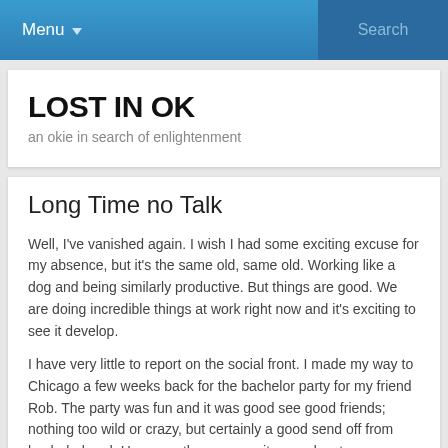Menu  Search
LOST IN OK
an okie in search of enlightenment
Long Time no Talk
Well, I've vanished again. I wish I had some exciting excuse for my absence, but it's the same old, same old. Working like a dog and being similarly productive. But things are good. We are doing incredible things at work right now and it's exciting to see it develop.
I have very little to report on the social front. I made my way to Chicago a few weeks back for the bachelor party for my friend Rob. The party was fun and it was good see good friends; nothing too wild or crazy, but certainly a good send off from bachelorhood. However, there was quite an adventure on my way up to Chicago that I thought I would pass along . . .
My hatred of airports and more specifically airport security, I decided to